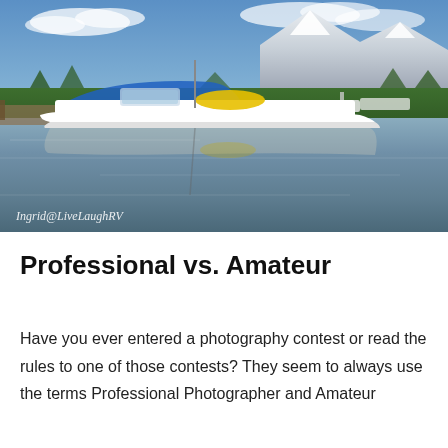[Figure (photo): A marina scene with a large white motorboat with yellow and blue accents in the foreground, reflected in calm water. Snow-capped mountains (Grand Tetons) in the background with trees along the shoreline and a blue sky with clouds. Watermark reads 'Ingrid@LiveLaughRV'.]
Professional vs. Amateur
Have you ever entered a photography contest or read the rules to one of those contests? They seem to always use the terms Professional Photographer and Amateur